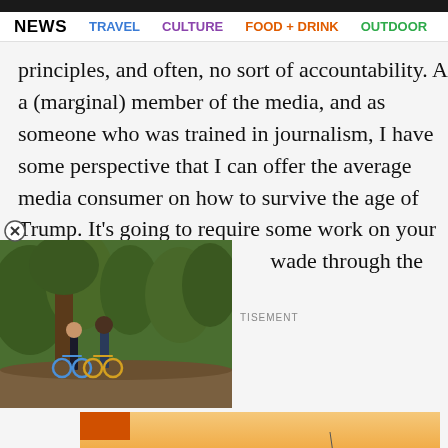NEWS  TRAVEL  CULTURE  FOOD + DRINK  OUTDOOR
principles, and often, no sort of accountability. As a (marginal) member of the media, and as someone who was trained in journalism, I have some perspective that I can offer the average media consumer on how to survive the age of Trump. It's going to require some work on your part, but believe [me, you can learn to] wade through the bullshit.
[Figure (photo): Two people with bicycles in a forested area with large trees]
TISEMENT
[Figure (photo): Sunset over water with orange bar in corner]